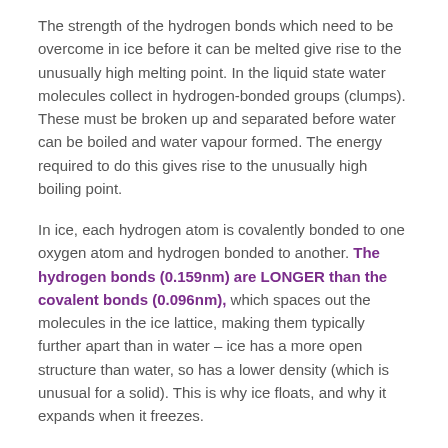The strength of the hydrogen bonds which need to be overcome in ice before it can be melted give rise to the unusually high melting point. In the liquid state water molecules collect in hydrogen-bonded groups (clumps). These must be broken up and separated before water can be boiled and water vapour formed. The energy required to do this gives rise to the unusually high boiling point.
In ice, each hydrogen atom is covalently bonded to one oxygen atom and hydrogen bonded to another. The hydrogen bonds (0.159nm) are LONGER than the covalent bonds (0.096nm), which spaces out the molecules in the ice lattice, making them typically further apart than in water – ice has a more open structure than water, so has a lower density (which is unusual for a solid). This is why ice floats, and why it expands when it freezes.
At the surface, the water molecules form a 2-D network of hydrogen bonded water molecules – this is the origin of